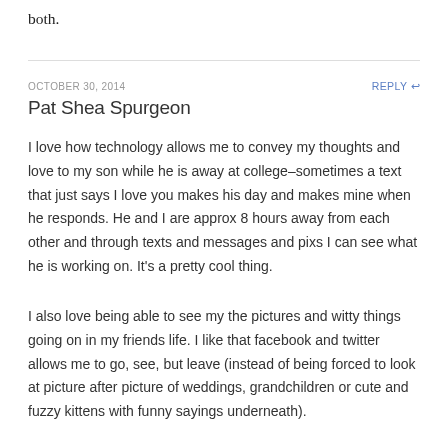both.
OCTOBER 30, 2014
REPLY ↩
Pat Shea Spurgeon
I love how technology allows me to convey my thoughts and love to my son while he is away at college–sometimes a text that just says I love you makes his day and makes mine when he responds. He and I are approx 8 hours away from each other and through texts and messages and pixs I can see what he is working on. It's a pretty cool thing.
I also love being able to see my the pictures and witty things going on in my friends life. I like that facebook and twitter allows me to go, see, but leave (instead of being forced to look at picture after picture of weddings, grandchildren or cute and fuzzy kittens with funny sayings underneath).